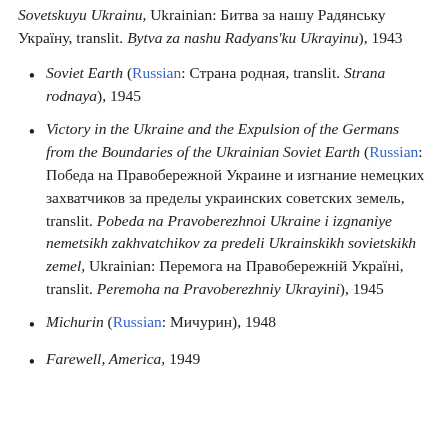Sovetskuyu Ukrainu, Ukrainian: Битва за нашу Радянську Україну, translit. Bytva za nashu Radyans'ku Ukrayinu), 1943
Soviet Earth (Russian: Страна родная, translit. Strana rodnaya), 1945
Victory in the Ukraine and the Expulsion of the Germans from the Boundaries of the Ukrainian Soviet Earth (Russian: Победа на Правобережной Украине и изгнание немецких захватчиков за пределы украинских советских земель, translit. Pobeda na Pravoberezhnoi Ukraine i izgnaniye nemetsikh zakhvatchikov za predeli Ukrainskikh sovietskikh zemel, Ukrainian: Перемога на Правобережній Україні, translit. Peremoha na Pravoberezhniy Ukrayini), 1945
Michurin (Russian: Мичурин), 1948
Farewell, America, 1949